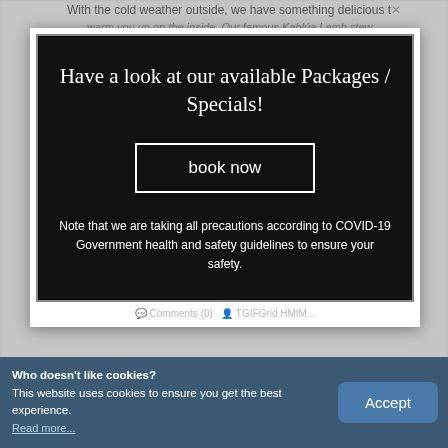With the cold weather outside, we have something delicious to warm you up on the inside. Our famous Kahlúa Lamb stew...
[Figure (screenshot): Black promotional modal/popup box with white border on a white card background, containing headline text, a 'book now' button, and a COVID-19 safety note.]
Have a look at our available Packages / Specials!
book now
Note that we are taking all precautions according to COVID-19 Government health and safety guidelines to ensure your safety.
Read more...
Who doesn't like cookies?
This website uses cookies to ensure you get the best experience.
Read more...
Accept